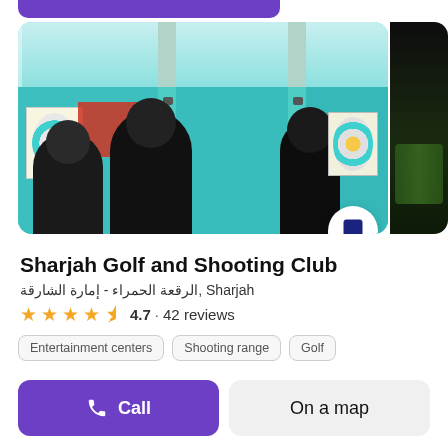[Figure (photo): Photo of a shooting range indoor facility with archery/shooting targets and people in dark clothing standing at booths. Teal/turquoise colored walls and dividers.]
Sharjah Golf and Shooting Club
الرقعة الحمراء - إمارة الشارقة, Sharjah
4.7 · 42 reviews
Entertainment centers
Shooting range
Golf
Call
On a map